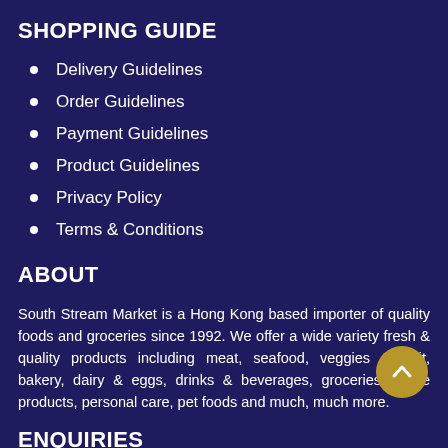SHOPPING GUIDE
Delivery Guidelines
Order Guidelines
Payment Guidelines
Product Guidelines
Privacy Policy
Terms & Conditions
ABOUT
South Stream Market is a Hong Kong based importer of quality foods and groceries since 1992. We offer a wide variety fresh & quality products including meat, seafood, veggies & fruit, bakery, dairy & eggs, drinks & beverages, groceries, home products, personal care, pet foods and much, much more.
ENQUIRIES